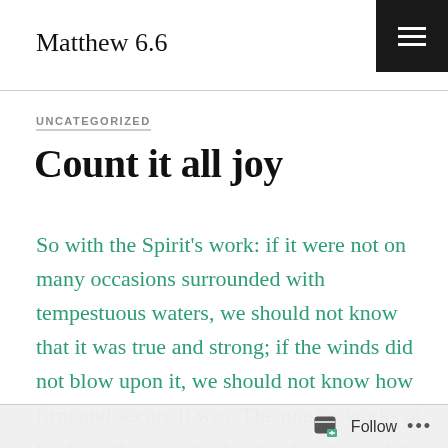Matthew 6.6
UNCATEGORIZED
Count it all joy
So with the Spirit’s work: if it were not on many occasions surrounded with tempestuous waters, we should not know that it was true and strong; if the winds did not blow upon it, we should not know how firm and secure it was. The master works of God are those men who stand in the midst of difficulties, steadfast, unmovable, — Spurgeon it has been an
Follow ...